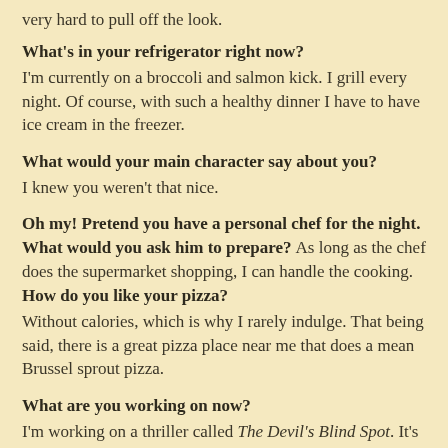very hard to pull off the look.
What's in your refrigerator right now?
I'm currently on a broccoli and salmon kick. I grill every night. Of course, with such a healthy dinner I have to have ice cream in the freezer.
What would your main character say about you?
I knew you weren't that nice.
Oh my! Pretend you have a personal chef for the night. What would you ask him to prepare?
As long as the chef does the supermarket shopping, I can handle the cooking.
How do you like your pizza?
Without calories, which is why I rarely indulge. That being said, there is a great pizza place near me that does a mean Brussel sprout pizza.
What are you working on now?
I'm working on a thriller called The Devil's Blind Spot. It's a bit out of character for me, but I'm having fun with it. The plot